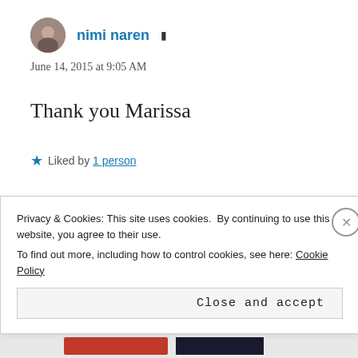nimi naren
June 14, 2015 at 9:05 AM
Thank you Marissa
Liked by 1 person
Privacy & Cookies: This site uses cookies. By continuing to use this website, you agree to their use. To find out more, including how to control cookies, see here: Cookie Policy
Close and accept